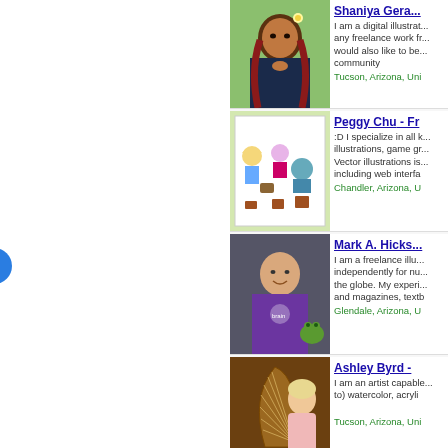[Figure (photo): Profile photo of Shaniya Gera - young woman with red braids and flower in hair]
Shaniya Gera
I am a digital illustrator... any freelance work... would also like to be... community
Tucson, Arizona, Uni
[Figure (photo): Profile photo of Peggy Chu - cartoon illustration artwork displayed on paper]
Peggy Chu - Fr
:D I specialize in all k... illustrations, game gr... Vector illustrations is... including web interfa
Chandler, Arizona, U
[Figure (photo): Profile photo of Mark A. Hicks - man in purple brainstorm t-shirt]
Mark A. Hicks
I am a freelance illu... independently for nu... the globe. My experi... and magazines, textb
Glendale, Arizona, U
[Figure (photo): Profile photo of Ashley Byrd - woman holding a harp]
Ashley Byrd -
I am an artist capable... to) watercolor, acryli
Tucson, Arizona, Uni